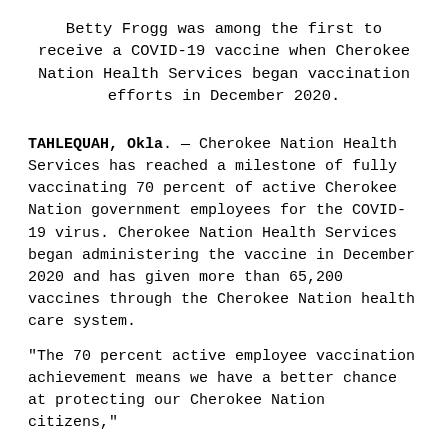Betty Frogg was among the first to receive a COVID-19 vaccine when Cherokee Nation Health Services began vaccination efforts in December 2020.
TAHLEQUAH, Okla. — Cherokee Nation Health Services has reached a milestone of fully vaccinating 70 percent of active Cherokee Nation government employees for the COVID-19 virus. Cherokee Nation Health Services began administering the vaccine in December 2020 and has given more than 65,200 vaccines through the Cherokee Nation health care system.
“The 70 percent active employee vaccination achievement means we have a better chance at protecting our Cherokee Nation citizens,”